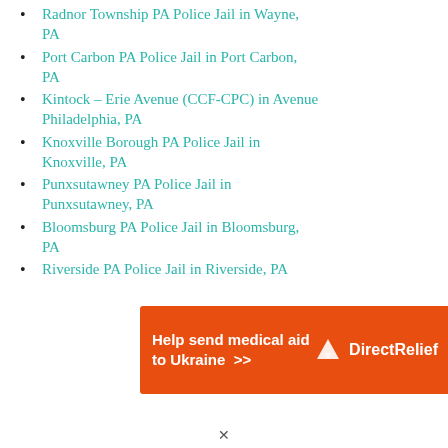Radnor Township PA Police Jail in Wayne, PA
Port Carbon PA Police Jail in Port Carbon, PA
Kintock – Erie Avenue (CCF-CPC) in Avenue Philadelphia, PA
Knoxville Borough PA Police Jail in Knoxville, PA
Punxsutawney PA Police Jail in Punxsutawney, PA
Bloomsburg PA Police Jail in Bloomsburg, PA
Riverside PA Police Jail in Riverside, PA
[Figure (infographic): Orange advertisement banner reading 'Help send medical aid to Ukraine >>' with DirectRelief logo on right side]